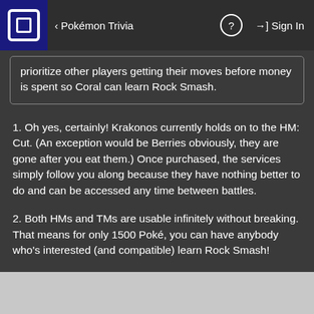Pokémon Trivia
prioritize other players getting their moves before money is spent so Coral can learn Rock Smash.
1. Oh yes, certainly! Krakonos currently holds on to the HM: Cut. (An exception would be Berries obviously, they are gone after you eat them.) Once purchased, the services simply follow you along because they have nothing better to do and can be accessed any time between battles.
2. Both HMs and TMs are usable infinitely without breaking. That means for only 1500 Poké, you can have anybody who's interested (and compatible) learn Rock Smash!